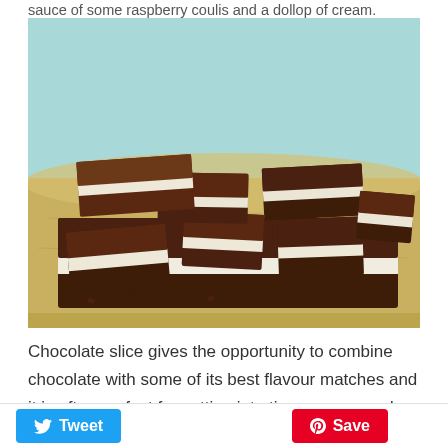sauce of some raspberry coulis and a dollop of cream.
[Figure (photo): Chocolate slice pieces with white cream filling, cut into squares and arranged on a wooden cutting board with a light blue/teal background]
Chocolate slice gives the opportunity to combine chocolate with some of its best flavour matches and it is often perfect for cutting into tiny squares and served after dinner.
Tweet   Save